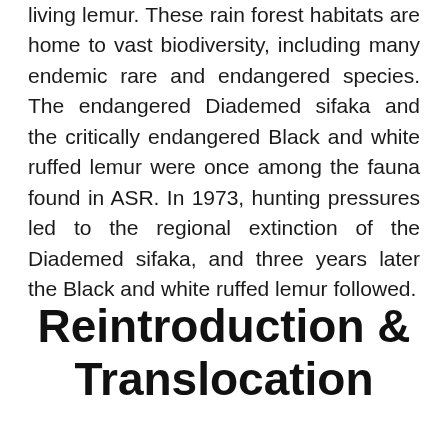living lemur. These rain forest habitats are home to vast biodiversity, including many endemic rare and endangered species. The endangered Diademed sifaka and the critically endangered Black and white ruffed lemur were once among the fauna found in ASR. In 1973, hunting pressures led to the regional extinction of the Diademed sifaka, and three years later the Black and white ruffed lemur followed.
Reintroduction & Translocation